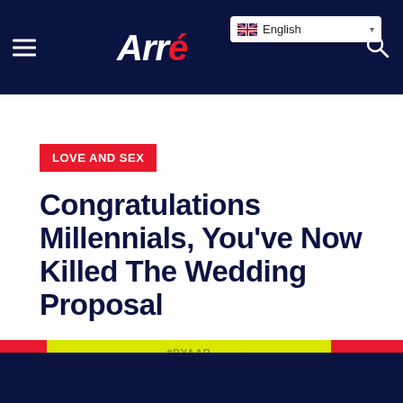Arré — English navigation bar
LOVE AND SEX
Congratulations Millennials, You've Now Killed The Wedding Proposal
[Figure (illustration): Article thumbnail image showing a yellow background with #PYAAR text, hearts, stars, a silhouette, red side panels, and Arré logo. A Save button is visible on the left.]